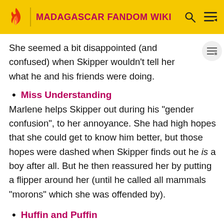MADAGASCAR FANDOM WIKI
She seemed a bit disappointed (and confused) when Skipper wouldn't tell her what he and his friends were doing.
Miss Understanding
Marlene helps Skipper out during his "gender confusion", to her annoyance. She had high hopes that she could get to know him better, but those hopes were dashed when Skipper finds out he is a boy after all. But he then reassured her by putting a flipper around her (until he called all mammals "morons" which she was offended by).
Huffin and Puffin
Marlene saved Skipper again from Hans' blow-darts and shouted "Watch out!"